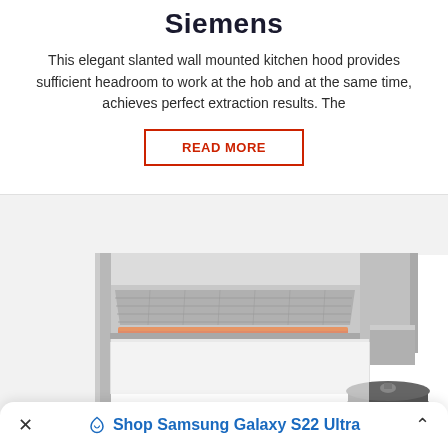Siemens
This elegant slanted wall mounted kitchen hood provides sufficient headroom to work at the hob and at the same time, achieves perfect extraction results. The
READ MORE
[Figure (photo): A stainless steel slanted wall-mounted kitchen hood shown from the side with a cooking pot below it and hands visible at the bottom.]
Shop Samsung Galaxy S22 Ultra